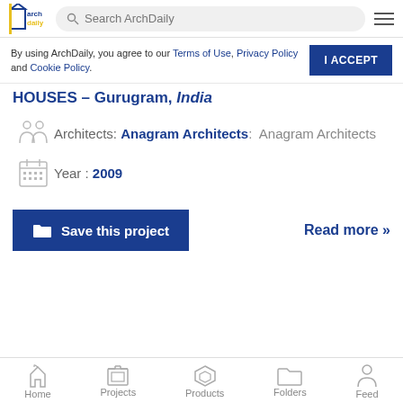ArchDaily — Search ArchDaily
By using ArchDaily, you agree to our Terms of Use, Privacy Policy and Cookie Policy.
HOUSES - Gurugram, India
Architects: Anagram Architects: Anagram Architects
Year: 2009
Save this project
Read more »
Home | Projects | Products | Folders | Feed